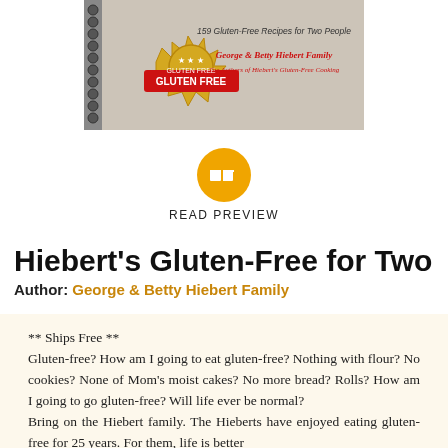[Figure (photo): Book cover of 'Hiebert's Gluten-Free for Two' showing a spiral-bound cookbook with a gluten-free badge/seal, text '159 Gluten-Free Recipes for Two People' and 'George & Betty Hiebert Family, The Authors of Hiebert's Gluten-Free Cooking']
[Figure (logo): Orange/yellow circle with a white open book icon inside, READ PREVIEW button]
READ PREVIEW
Hiebert's Gluten-Free for Two
Author: George & Betty Hiebert Family
** Ships Free ** Gluten-free? How am I going to eat gluten-free? Nothing with flour? No cookies? None of Mom's moist cakes? No more bread? Rolls? How am I going to go gluten-free? Will life ever be normal? Bring on the Hiebert family. The Hieberts have enjoyed eating gluten-free for 25 years. For them, life is better